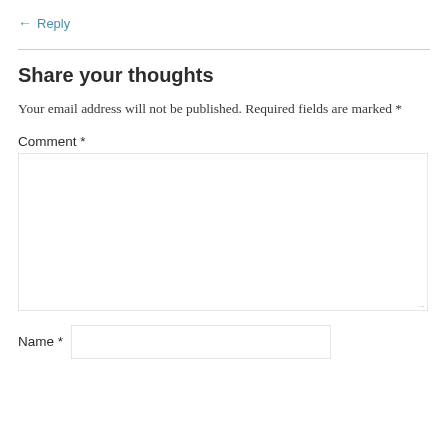← Reply
Share your thoughts
Your email address will not be published. Required fields are marked *
Comment *
Name *